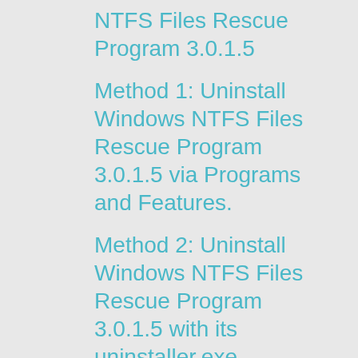NTFS Files Rescue Program 3.0.1.5
Method 1: Uninstall Windows NTFS Files Rescue Program 3.0.1.5 via Programs and Features.
Method 2: Uninstall Windows NTFS Files Rescue Program 3.0.1.5 with its uninstaller.exe.
Method 3: Uninstall Windows NTFS Files Rescue Program 3.0.1.5 via System Restore.